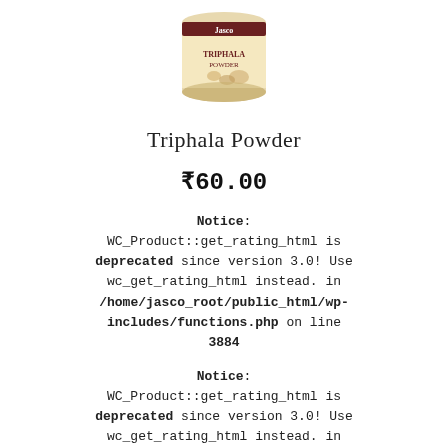[Figure (photo): Product photo of a can of Triphala Powder with a label showing the product name and brand logo]
Triphala Powder
₹60.00
Notice: WC_Product::get_rating_html is deprecated since version 3.0! Use wc_get_rating_html instead. in /home/jasco_root/public_html/wp-includes/functions.php on line 3884
Notice: WC_Product::get_rating_html is deprecated since version 3.0! Use wc_get_rating_html instead. in /home/jasco_root/public_html/wp-